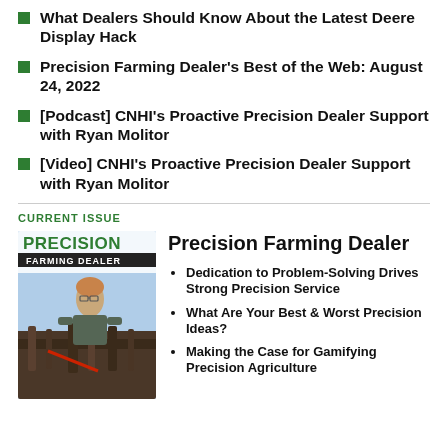What Dealers Should Know About the Latest Deere Display Hack
Precision Farming Dealer's Best of the Web: August 24, 2022
[Podcast] CNHI's Proactive Precision Dealer Support with Ryan Molitor
[Video] CNHI's Proactive Precision Dealer Support with Ryan Molitor
CURRENT ISSUE
[Figure (illustration): Magazine cover of Precision Farming Dealer showing a person working on agricultural equipment]
Precision Farming Dealer
Dedication to Problem-Solving Drives Strong Precision Service
What Are Your Best & Worst Precision Ideas?
Making the Case for Gamifying Precision Agriculture